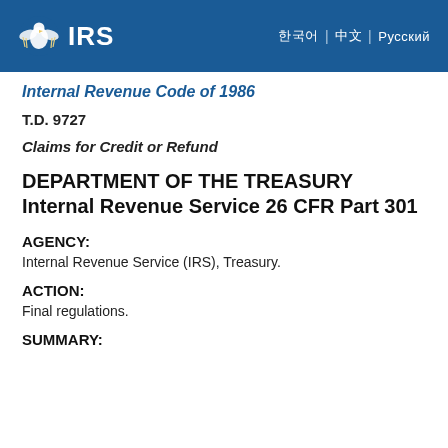IRS — Internal Revenue Code of 1986
Internal Revenue Code of 1986
T.D. 9727
Claims for Credit or Refund
DEPARTMENT OF THE TREASURY Internal Revenue Service 26 CFR Part 301
AGENCY:
Internal Revenue Service (IRS), Treasury.
ACTION:
Final regulations.
SUMMARY: